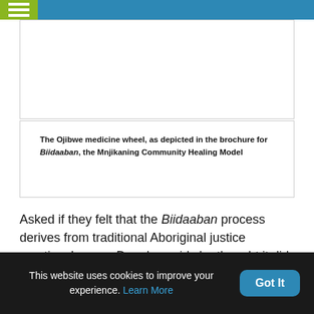[Figure (other): Top portion of an image area showing the Ojibwe medicine wheel from the Biidaaban brochure, partially visible]
The Ojibwe medicine wheel, as depicted in the brochure for Biidaaban, the Mnjikaning Community Healing Model
Asked if they felt that the Biidaaban process derives from traditional Aboriginal justice practice, Leanne Douglas said she thought it did, “because people took responsibility for their behavior and it was the community that tried to set them on the right path. If
This website uses cookies to improve your experience. Learn More  Got It